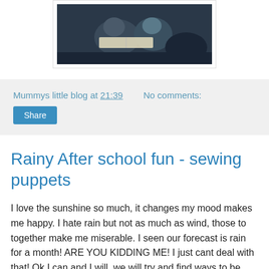[Figure (photo): Photo of children reading a book, dark background]
Mummys little blog at 21:39   No comments:
Share
Rainy After school fun - sewing puppets
I love the sunshine so much, it changes my mood makes me happy. I hate rain but not as much as wind, those to together make me miserable. I seen our forecast is rain for a month! ARE YOU KIDDING ME! I just cant deal with that! Ok I can and I will, we will try and find ways to be entertained indoors in the dry with tea and cake. This week we have been